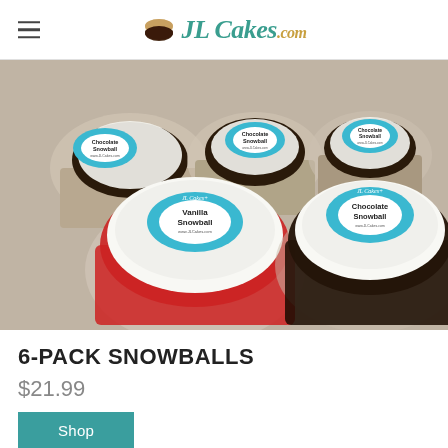JL Cakes.com
[Figure (photo): Multiple snowball cakes in clear plastic containers. Labels visible: 'Chocolate Snowball' and 'Vanilla Snowball' from JL Cakes+. The coconut-covered cake balls are in red and chocolate-colored bases.]
6-PACK SNOWBALLS
$21.99
Shop